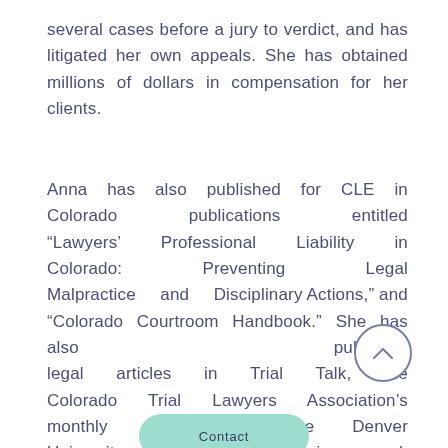several cases before a jury to verdict, and has litigated her own appeals. She has obtained millions of dollars in compensation for her clients.
Anna has also published for CLE in Colorado publications entitled “Lawyers’ Professional Liability in Colorado: Preventing Legal Malpractice and Disciplinary Actions,” and “Colorado Courtroom Handbook.” She has also published legal articles in Trial Talk, the Colorado Trial Lawyers Association’s monthly publication; the Denver University Online Law Review; and, the Colorado Bar Association’s magazine, The Colorado Lawyer.